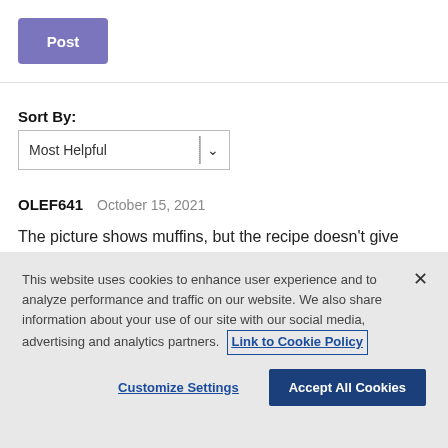[Figure (screenshot): Purple 'Post' button]
Sort By:
[Figure (screenshot): Dropdown selector showing 'Most Helpful']
OLEF641   October 15, 2021
The picture shows muffins, but the recipe doesn't give
This website uses cookies to enhance user experience and to analyze performance and traffic on our website. We also share information about your use of our site with our social media, advertising and analytics partners. Link to Cookie Policy
Customize Settings
Accept All Cookies